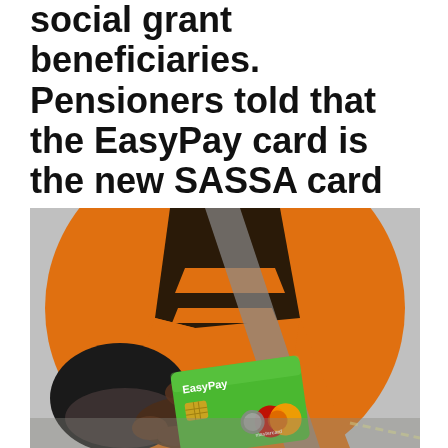social grant beneficiaries. Pensioners told that the EasyPay card is the new SASSA card
[Figure (photo): A person wearing an orange high-visibility jacket holding a green EasyPay Mastercard payment card in both hands. The card is prominently displayed showing the EasyPay logo and Mastercard logo.]